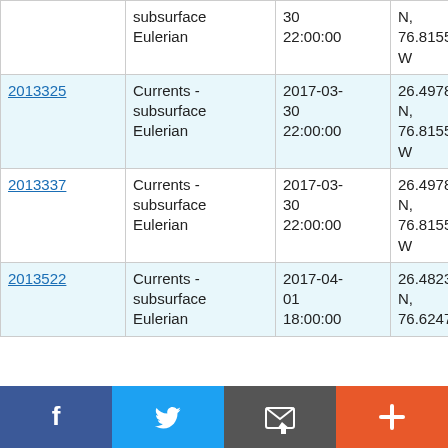| ID | Type | Date/Time | Location | Vessel |
| --- | --- | --- | --- | --- |
|  | Currents - subsurface Eulerian | 30 22:00:00 | N, 76.8155 W | James Cook JC145 |
| 2013325 | Currents - subsurface Eulerian | 2017-03-30 22:00:00 | 26.4978 N, 76.8155 W | RRS James Cook JC145 |
| 2013337 | Currents - subsurface Eulerian | 2017-03-30 22:00:00 | 26.4978 N, 76.8155 W | RRS James Cook JC145 |
| 2013522 | Currents - subsurface Eulerian | 2017-04-01 18:00:00 | 26.4823 N, 76.6247 | RRS James Cook |
[Figure (infographic): Social sharing bar with Facebook, Twitter, email/share, and plus buttons]